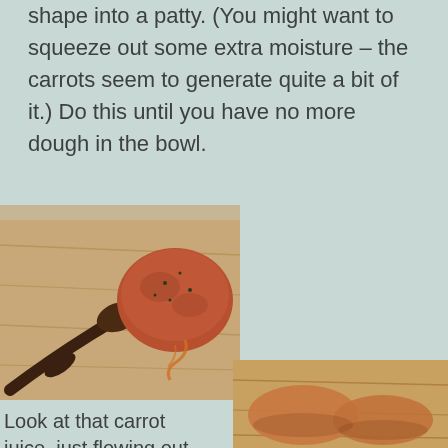shape into a patty. (You might want to squeeze out some extra moisture – the carrots seem to generate quite a bit of it.) Do this until you have no more dough in the bowl.
[Figure (photo): A rounded ball of carrot-based dough on a wooden cutting board with a dark wooden spoon, carrot juice visible flowing out]
Look at that carrot juice, just flowing out.
[Figure (photo): Partial view of what appears to be formed carrot patties on a wooden surface, bottom of page]